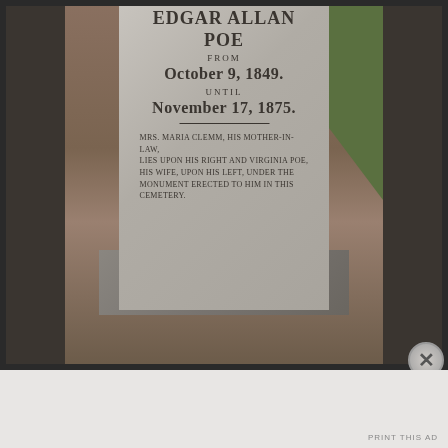[Figure (photo): Photograph of Edgar Allan Poe's gravestone monument. A tall stone marker with inscribed text reads: EDGAR ALLAN POE FROM OCTOBER 9 1849 UNTIL NOVEMBER 17 1875 followed by inscription about Mrs. Maria Clemm and Virginia Poe. Stone base below, surrounded by dirt ground and grass.]
PRINT THIS AD